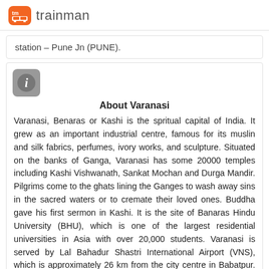trainman
station – Pune Jn (PUNE).
About Varanasi
Varanasi, Benaras or Kashi is the spritual capital of India. It grew as an important industrial centre, famous for its muslin and silk fabrics, perfumes, ivory works, and sculpture. Situated on the banks of Ganga, Varanasi has some 20000 temples including Kashi Vishwanath, Sankat Mochan and Durga Mandir. Pilgrims come to the ghats lining the Ganges to wash away sins in the sacred waters or to cremate their loved ones. Buddha gave his first sermon in Kashi. It is the site of Banaras Hindu University (BHU), which is one of the largest residential universities in Asia with over 20,000 students. Varanasi is served by Lal Bahadur Shastri International Airport (VNS), which is approximately 26 km from the city centre in Babatpur. The Diesel Locomotive Works in Varanasi, India, is a production unit owned by